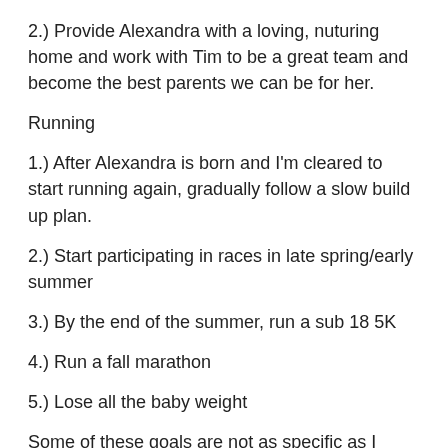2.) Provide Alexandra with a loving, nuturing home and work with Tim to be a great team and become the best parents we can be for her.
Running
1.) After Alexandra is born and I'm cleared to start running again, gradually follow a slow build up plan.
2.) Start participating in races in late spring/early summer
3.) By the end of the summer, run a sub 18 5K
4.) Run a fall marathon
5.) Lose all the baby weight
Some of these goals are not as specific as I usually go with the running.  I love stating specific goals that are hard